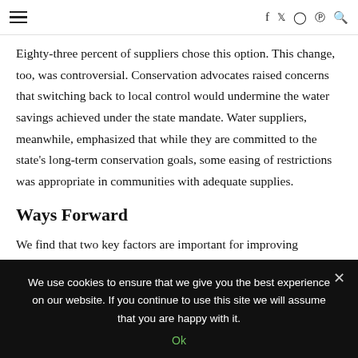≡  f  𝕏  ○  ⊕  🔍
Eighty-three percent of suppliers chose this option. This change, too, was controversial. Conservation advocates raised concerns that switching back to local control would undermine the water savings achieved under the state mandate. Water suppliers, meanwhile, emphasized that while they are committed to the state's long-term conservation goals, some easing of restrictions was appropriate in communities with adequate supplies.
Ways Forward
We find that two key factors are important for improving...
We use cookies to ensure that we give you the best experience on our website. If you continue to use this site we will assume that you are happy with it.
Ok